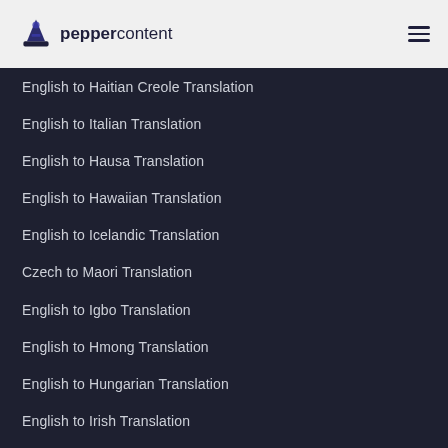peppercontent
English to Haitian Creole Translation
English to Italian Translation
English to Hausa Translation
English to Hawaiian Translation
English to Icelandic Translation
Czech to Maori Translation
English to Igbo Translation
English to Hmong Translation
English to Hungarian Translation
English to Irish Translation
English to Kurdish Translation
English to Japanese Translation
English to Javanese Translation
English to Indonesian Translation
English to Korean Translation